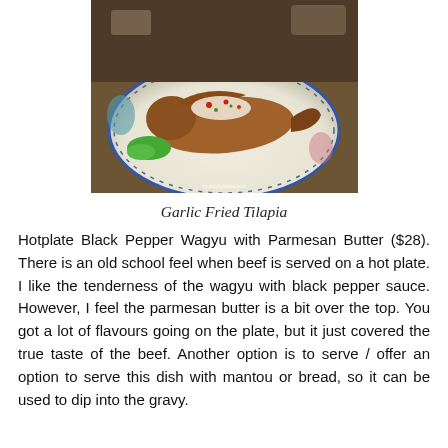[Figure (photo): Photo of a whole fried tilapia fish on a decorative plate with blue and floral pattern, topped with garlic and chili garnish, with green lettuce on the side. Watermark reads 'chubbyboilaibu.com'.]
Garlic Fried Tilapia
Hotplate Black Pepper Wagyu with Parmesan Butter ($28). There is an old school feel when beef is served on a hot plate. I like the tenderness of the wagyu with black pepper sauce. However, I feel the parmesan butter is a bit over the top. You got a lot of flavours going on the plate, but it just covered the true taste of the beef. Another option is to serve / offer an option to serve this dish with mantou or bread, so it can be used to dip into the gravy.